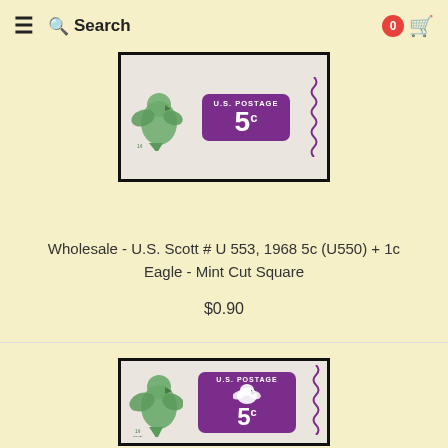Search
[Figure (photo): Close-up of a U.S. postal stamp cut square showing a green eagle on white background and a purple 5c U.S. Postage label with serrated edge, framed in black]
Wholesale - U.S. Scott # U 553, 1968 5c (U550) + 1c Eagle - Mint Cut Square
$0.90
[Figure (photo): U.S. postal stamp cut square showing a green eagle on white background and a purple 5c U.S. Postage label with serrated edge design, framed in black, larger view]